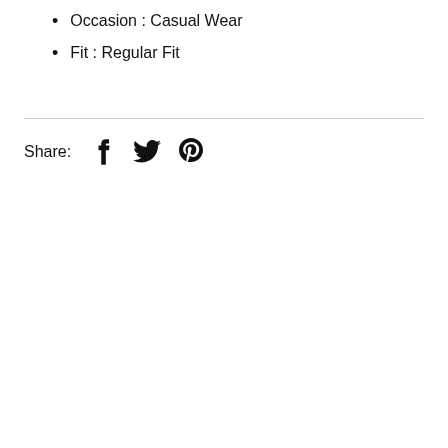Occasion : Casual Wear
Fit : Regular Fit
Share: